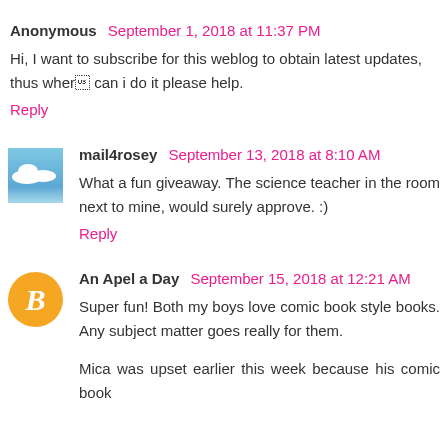Anonymous September 1, 2018 at 11:37 PM
Hi, I want to subscribe for this weblog to obtain latest updates,
thus where can i do it please help.
Reply
mail4rosey September 13, 2018 at 8:10 AM
What a fun giveaway. The science teacher in the room next to mine, would surely approve. :)
Reply
An Apel a Day September 15, 2018 at 12:21 AM
Super fun! Both my boys love comic book style books. Any subject matter goes really for them.
Mica was upset earlier this week because his comic book